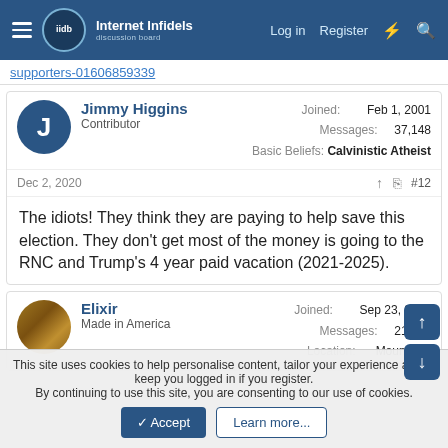Internet Infidels — Log in   Register
supporters-01606859339
Jimmy Higgins
Contributor
Joined: Feb 1, 2001
Messages: 37,148
Basic Beliefs: Calvinistic Atheist
Dec 2, 2020  #12
The idiots! They think they are paying to help save this election. They don't get most of the money is going to the RNC and Trump's 4 year paid vacation (2021-2025).
Elixir
Made in America
Joined: Sep 23, 2012
Messages: 21,058
Location: Mountains
This site uses cookies to help personalise content, tailor your experience and to keep you logged in if you register.
By continuing to use this site, you are consenting to our use of cookies.